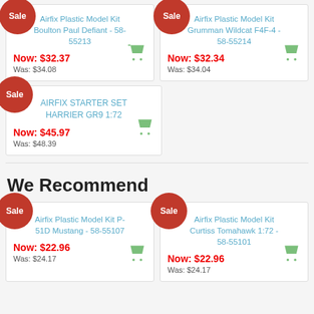[Figure (screenshot): Sale badge red circle on product card top-left]
Airfix Plastic Model Kit Boulton Paul Defiant - 58-55213
Now: $32.37
Was: $34.08
[Figure (screenshot): Sale badge red circle on product card top-left]
Airfix Plastic Model Kit Grumman Wildcat F4F-4 - 58-55214
Now: $32.34
Was: $34.04
[Figure (screenshot): Sale badge red circle on product card top-left]
AIRFIX STARTER SET HARRIER GR9 1:72
Now: $45.97
Was: $48.39
We Recommend
[Figure (screenshot): Sale badge red circle on product card top-left]
Airfix Plastic Model Kit P-51D Mustang - 58-55107
Now: $22.96
Was: $24.17
[Figure (screenshot): Sale badge red circle on product card top-left]
Airfix Plastic Model Kit Curtiss Tomahawk 1:72 - 58-55101
Now: $22.96
Was: $24.17